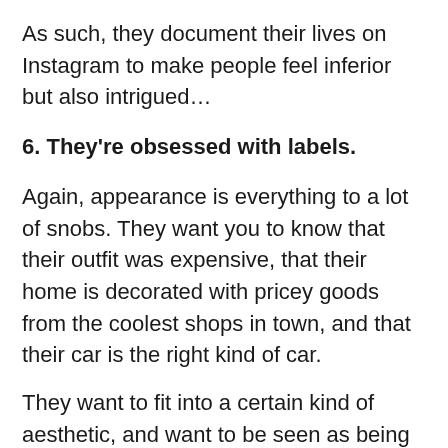As such, they document their lives on Instagram to make people feel inferior but also intrigued…
6. They're obsessed with labels.
Again, appearance is everything to a lot of snobs. They want you to know that their outfit was expensive, that their home is decorated with pricey goods from the coolest shops in town, and that their car is the right kind of car.
They want to fit into a certain kind of aesthetic, and want to be seen as being rich and successful – which is why showcasing certain